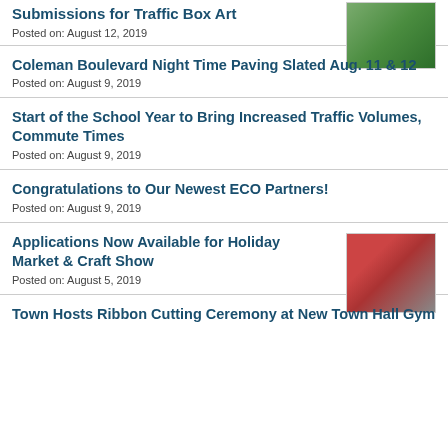Submissions for Traffic Box Art
Posted on: August 12, 2019
Coleman Boulevard Night Time Paving Slated Aug. 11 & 12
Posted on: August 9, 2019
Start of the School Year to Bring Increased Traffic Volumes, Commute Times
Posted on: August 9, 2019
Congratulations to Our Newest ECO Partners!
Posted on: August 9, 2019
Applications Now Available for Holiday Market & Craft Show
Posted on: August 5, 2019
Town Hosts Ribbon Cutting Ceremony at New Town Hall Gym